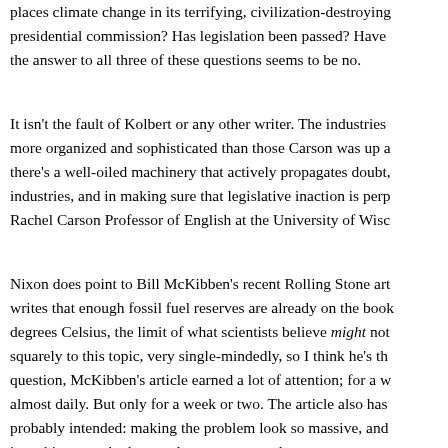places climate change in its terrifying, civilization-destroying presidential commission? Has legislation been passed? Have the answer to all three of these questions seems to be no.
It isn't the fault of Kolbert or any other writer. The industries more organized and sophisticated than those Carson was up a there's a well-oiled machinery that actively propagates doubt, industries, and in making sure that legislative inaction is perp Rachel Carson Professor of English at the University of Wisc
Nixon does point to Bill McKibben's recent Rolling Stone art writes that enough fossil fuel reserves are already on the book degrees Celsius, the limit of what scientists believe might not squarely to this topic, very single-mindedly, so I think he's th question, McKibben's article earned a lot of attention; for a w almost daily. But only for a week or two. The article also has probably intended: making the problem look so massive, and is nothing we who have only our pens can do.